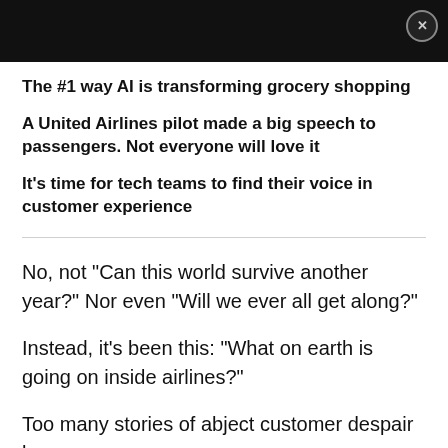The #1 way AI is transforming grocery shopping
A United Airlines pilot made a big speech to passengers. Not everyone will love it
It's time for tech teams to find their voice in customer experience
No, not "Can this world survive another year?" Nor even "Will we ever all get along?"
Instead, it's been this: "What on earth is going on inside airlines?"
Too many stories of abject customer despair keep